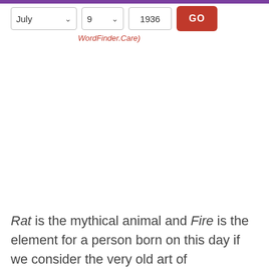[Figure (screenshot): UI controls row with dropdowns for month (July), day (9), year (1936), and a red GO button]
WordFinder.Care)
Rat is the mythical animal and Fire is the element for a person born on this day if we consider the very old art of